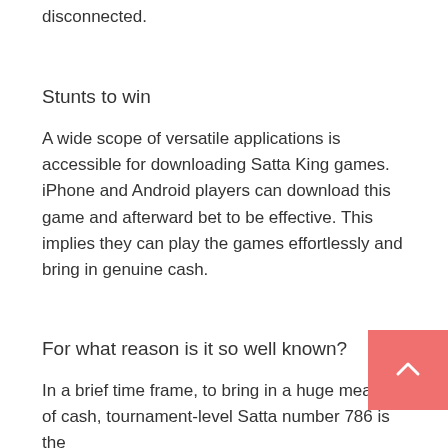disconnected.
Stunts to win
A wide scope of versatile applications is accessible for downloading Satta King games. iPhone and Android players can download this game and afterward bet to be effective. This implies they can play the games effortlessly and bring in genuine cash.
For what reason is it so well known?
In a brief time frame, to bring in a huge measure of cash, tournament-level Satta number 786 is the